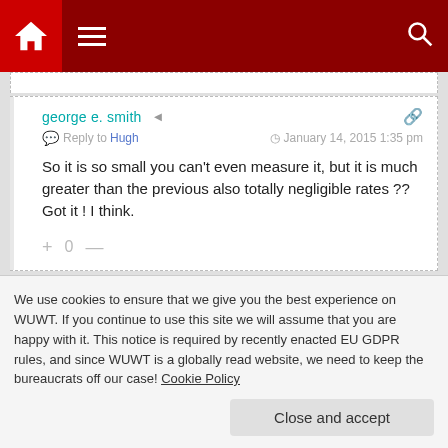WUWT navigation bar with home, menu, and search icons
george e. smith  Reply to Hugh  January 14, 2015 1:35 pm
So it is so small you can't even measure it, but it is much greater than the previous also totally negligible rates ?? Got it ! I think.
+ 0 −
We use cookies to ensure that we give you the best experience on WUWT. If you continue to use this site we will assume that you are happy with it. This notice is required by recently enacted EU GDPR rules, and since WUWT is a globally read website, we need to keep the bureaucrats off our case! Cookie Policy  Close and accept